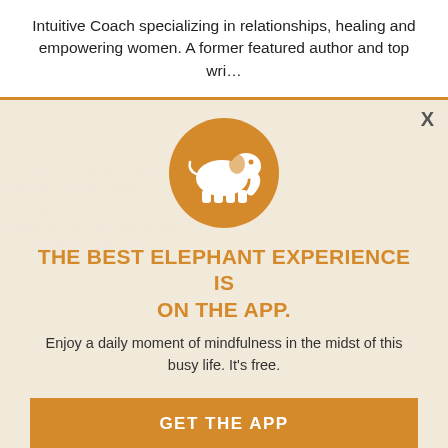Intuitive Coach specializing in relationships, healing and empowering women. A former featured author and top wri…
[Figure (logo): Orange circle with white elephant silhouette — Elephant Journal app logo]
THE BEST ELEPHANT EXPERIENCE IS ON THE APP.
Enjoy a daily moment of mindfulness in the midst of this busy life. It's free.
GET THE APP
OPEN IN APP